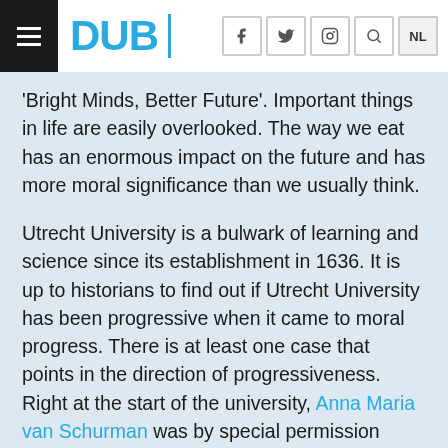DUB
'Bright Minds, Better Future'. Important things in life are easily overlooked. The way we eat has an enormous impact on the future and has more moral significance than we usually think.
Utrecht University is a bulwark of learning and science since its establishment in 1636. It is up to historians to find out if Utrecht University has been progressive when it came to moral progress. There is at least one case that points in the direction of progressiveness. Right at the start of the university, Anna Maria van Schurman was by special permission allowed to study at Utrecht University as the first female student in the Netherlands,